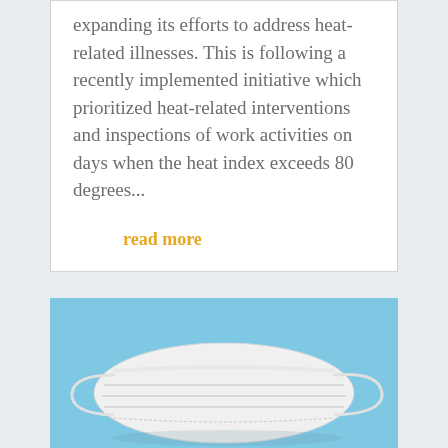expanding its efforts to address heat-related illnesses. This is following a recently implemented initiative which prioritized heat-related interventions and inspections of work activities on days when the heat index exceeds 80 degrees...
read more
[Figure (photo): A white disposable surgical/medical face mask with ear loops, photographed on a light blue background.]